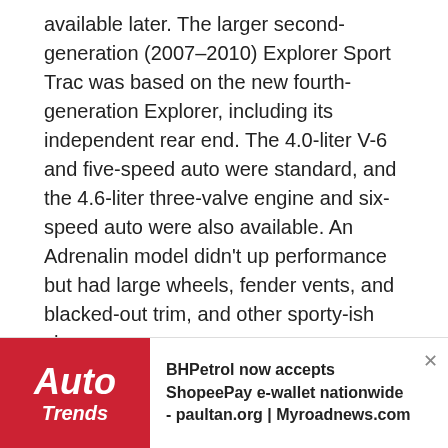available later. The larger second-generation (2007–2010) Explorer Sport Trac was based on the new fourth-generation Explorer, including its independent rear end. The 4.0-liter V-6 and five-speed auto were standard, and the 4.6-liter three-valve engine and six-speed auto were also available. An Adrenalin model didn't up performance but had large wheels, fender vents, and blacked-out trim, and other sporty-ish changes.
----------
Firestone Controversy
[Figure (logo): Auto Trends logo on red background with white italic text]
BHPetrol now accepts ShopeePay e-wallet nationwide - paultan.org | Myroadnews.com